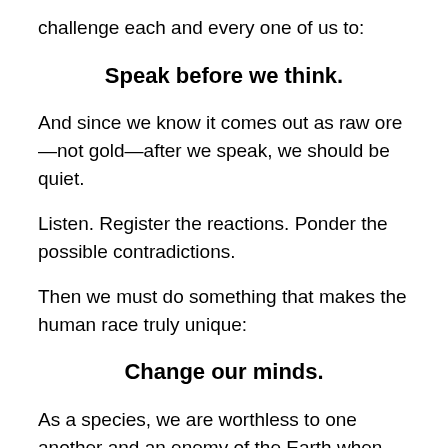challenge each and every one of us to:
Speak before we think.
And since we know it comes out as raw ore—not gold—after we speak, we should be quiet.
Listen. Register the reactions. Ponder the possible contradictions.
Then we must do something that makes the human race truly unique:
Change our minds.
As a species, we are worthless to one another and an enemy of the Earth when we are incapable of recanting